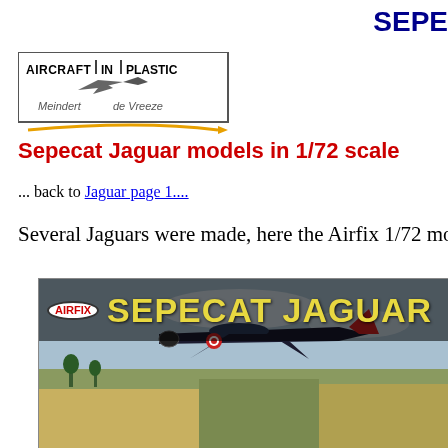SEPE
[Figure (logo): Aircraft in Plastic - Meindert de Vreeze logo with stylized aircraft silhouette and arrow]
Sepecat Jaguar models in 1/72 scale
... back to Jaguar page 1....
Several Jaguars were made, here the Airfix 1/72 models are p
[Figure (photo): Airfix Sepecat Jaguar model kit box art showing a dark colored Jaguar jet aircraft in flight over countryside, with AIRFIX logo and SEPECAT JAGUAR text in yellow]